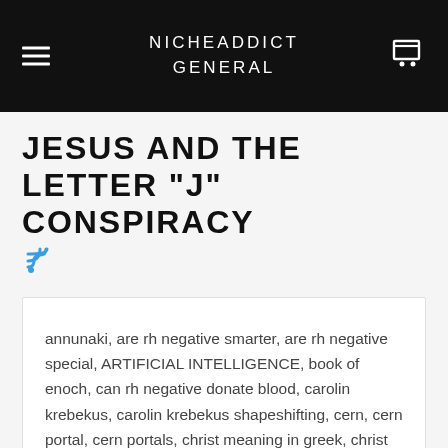NICHEADDICT GENERAL
JESUS AND THE LETTER "J" CONSPIRACY
annunaki, are rh negative smarter, are rh negative special, ARTIFICIAL INTELLIGENCE, book of enoch, can rh negative donate blood, carolin krebekus, carolin krebekus shapeshifting, cern, cern portal, cern portals, christ meaning in greek, christ sake meaning, COVID 10 HOAX, covid 19, COVID 19 CURE, define incarnation of jesus, demon possession, different christian symbols, Dogon high science, donald trump, Enki, for to me to live is christ and to die is gain meaning, fraud, free energy, free energy technology, gene therapy, genetic